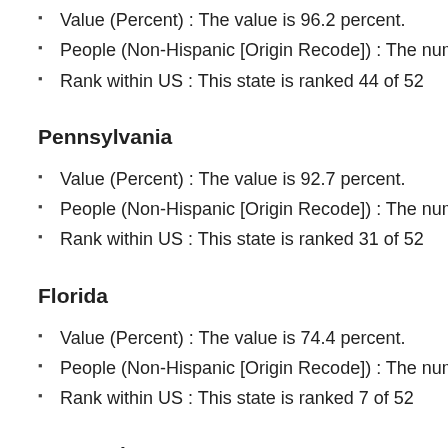Value (Percent) : The value is 96.2 percent.
People (Non-Hispanic [Origin Recode]) : The number of p
Rank within US : This state is ranked 44 of 52
Pennsylvania
Value (Percent) : The value is 92.7 percent.
People (Non-Hispanic [Origin Recode]) : The number of p
Rank within US : This state is ranked 31 of 52
Florida
Value (Percent) : The value is 74.4 percent.
People (Non-Hispanic [Origin Recode]) : The number of p
Rank within US : This state is ranked 7 of 52
New York
Value (Percent) : The value is 81.0 percent.
People (Non-Hispanic [Origin Recode]) : The number of p